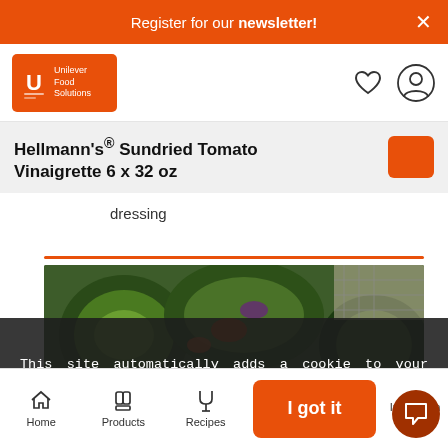Register for our newsletter!
[Figure (logo): Unilever Food Solutions orange logo with U symbol and text]
Hellmann's® Sundried Tomato Vinaigrette 6 x 32 oz
dressing
[Figure (photo): Overhead food photography showing colorful salad dishes and dressings on a table]
This site automatically adds a cookie to your browser when you visit. See our Cookie Policy for more information.
Home | Products | Recipes | Inspiration | I got it